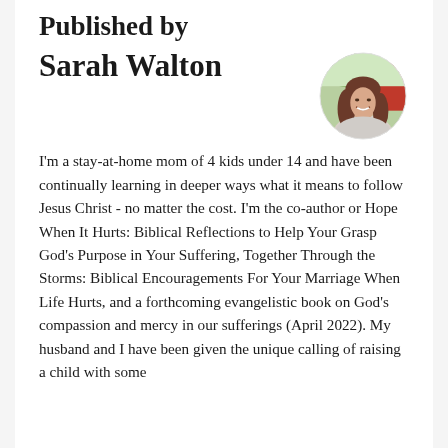Published by
Sarah Walton
[Figure (photo): Circular headshot photo of Sarah Walton, a woman with long brown hair, smiling, outdoors with green foliage and red background]
I'm a stay-at-home mom of 4 kids under 14 and have been continually learning in deeper ways what it means to follow Jesus Christ - no matter the cost. I'm the co-author or Hope When It Hurts: Biblical Reflections to Help Your Grasp God's Purpose in Your Suffering, Together Through the Storms: Biblical Encouragements For Your Marriage When Life Hurts, and a forthcoming evangelistic book on God's compassion and mercy in our sufferings (April 2022). My husband and I have been given the unique calling of raising a child with some